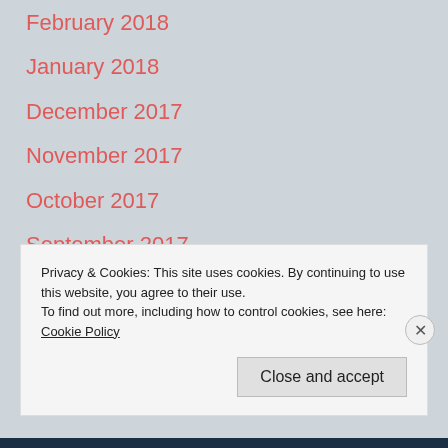February 2018
January 2018
December 2017
November 2017
October 2017
September 2017
August 2017
July 2017
Privacy & Cookies: This site uses cookies. By continuing to use this website, you agree to their use.
To find out more, including how to control cookies, see here: Cookie Policy
Close and accept